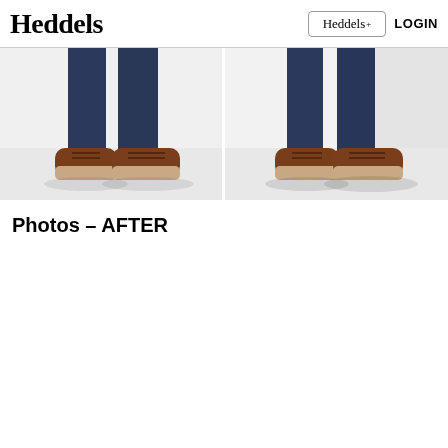Heddels | Heddels+ | LOGIN
[Figure (photo): Two side-by-side photos showing lower legs of a person wearing dark indigo jeans and brown leather moccasin-style shoes on a white background. Left photo shows front-facing view, right photo shows a slightly angled/side view.]
Photos – AFTER